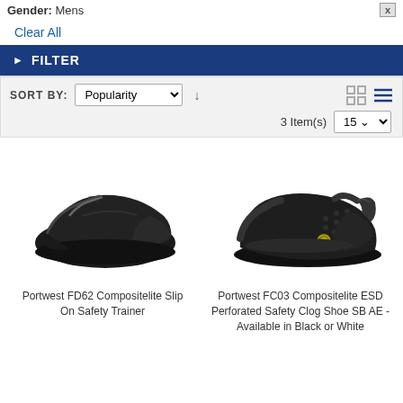Gender: Mens  [X]
Clear All
▶  FILTER
SORT BY: Popularity ↓  [grid] [list]  3 Item(s) 15
[Figure (photo): Portwest FD62 Compositelite Slip On Safety Trainer - black slip-on safety shoe]
Portwest FD62 Compositelite Slip On Safety Trainer
[Figure (photo): Portwest FC03 Compositelite ESD Perforated Safety Clog Shoe SB AE - Available in Black or White]
Portwest FC03 Compositelite ESD Perforated Safety Clog Shoe SB AE - Available in Black or White